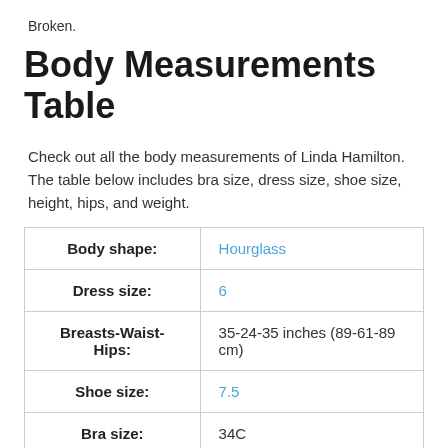Broken.
Body Measurements Table
Check out all the body measurements of Linda Hamilton. The table below includes bra size, dress size, shoe size, height, hips, and weight.
| Body shape: | Hourglass |
| Dress size: | 6 |
| Breasts-Waist-Hips: | 35-24-35 inches (89-61-89 cm) |
| Shoe size: | 7.5 |
| Bra size: | 34C |